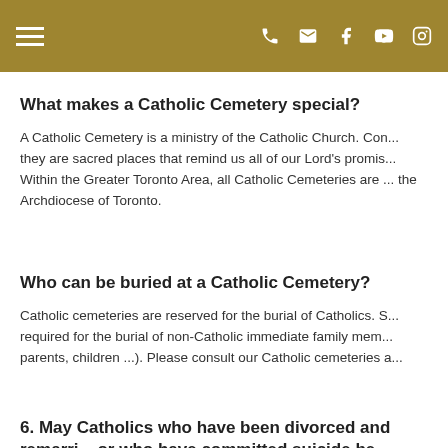Navigation header with hamburger menu and social icons (phone, email, Facebook, YouTube, Instagram)
What makes a Catholic Cemetery special?
A Catholic Cemetery is a ministry of the Catholic Church. Con... they are sacred places that remind us all of our Lord's promis... Within the Greater Toronto Area, all Catholic Cemeteries are ... the Archdiocese of Toronto.
Who can be buried at a Catholic Cemetery?
Catholic cemeteries are reserved for the burial of Catholics. S... required for the burial of non-Catholic immediate family mem... parents, children ...). Please consult our Catholic cemeteries a...
6. May Catholics who have been divorced and remarri... or who have committed suicide be buried with a Cath...